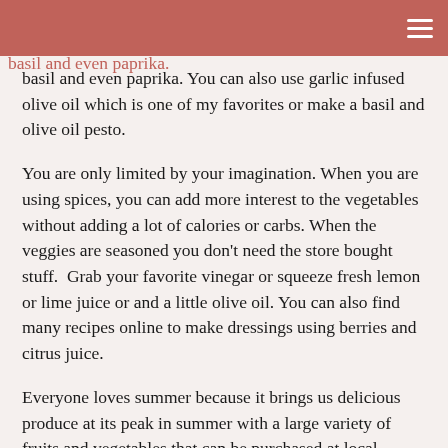cabinet and grab your favorites. Just go easy at first. I like to use garlic and onion powders, pepper, oregano, basil and even paprika.
basil and even paprika. You can also use garlic infused olive oil which is one of my favorites or make a basil and olive oil pesto.
You are only limited by your imagination. When you are using spices, you can add more interest to the vegetables without adding a lot of calories or carbs. When the veggies are seasoned you don’t need the store bought stuff.  Grab your favorite vinegar or squeeze fresh lemon or lime juice or and a little olive oil. You can also find many recipes online to make dressings using berries and citrus juice.
Everyone loves summer because it brings us delicious produce at its peak in summer with a large variety of fruits and vegetables that can be purchased at local farmers’ markets and in grocery stores. I like growing my own every year and so I just started my garden this week now that the warmer weather has finally arrived.